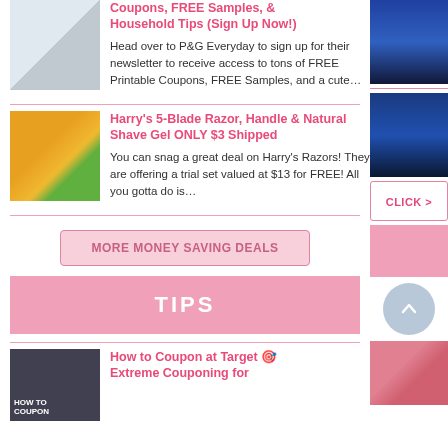Coupons, FREE Samples, & Household Tips (Sign Up Now!)
Head over to P&G Everyday to sign up for their newsletter to receive access to tons of FREE Printable Coupons, FREE Samples, and a cute…
Harry's 5-Blade Razor, Handle & Natural Shave Gel ONLY $3 Shipped
You can snag a great deal on Harry's Razors! They are offering a trial set valued at $13 for FREE! All you gotta do is…
MORE MONEY SAVING DEALS
TIPS
How to Coupon at Target 🎯 Extreme Couponing for